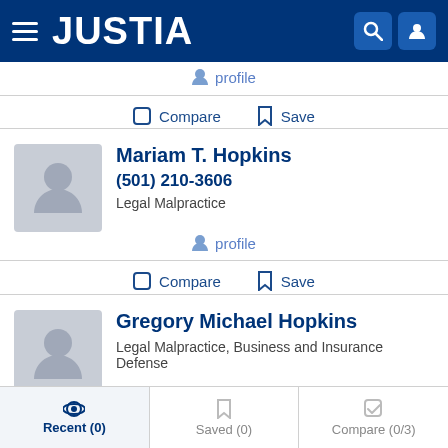JUSTIA
profile
Compare  Save
Mariam T. Hopkins
(501) 210-3606
Legal Malpractice
profile
Compare  Save
Gregory Michael Hopkins
Legal Malpractice, Business and Insurance Defense
Recent (0)  Saved (0)  Compare (0/3)